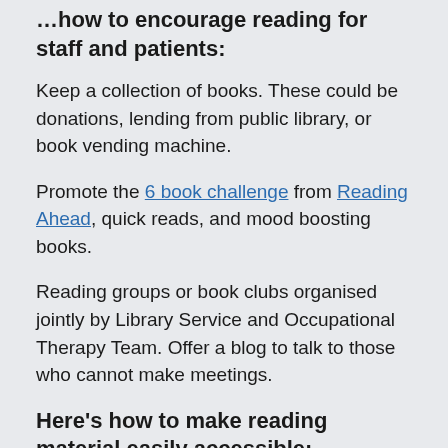Here's how to encourage reading for staff and patients:
Keep a collection of books. These could be donations, lending from public library, or book vending machine.
Promote the 6 book challenge from Reading Ahead, quick reads, and mood boosting books.
Reading groups or book clubs organised jointly by Library Service and Occupational Therapy Team. Offer a blog to talk to those who cannot make meetings.
Here's how to make reading material easily accessible:
Display poetry chosen by staff on the wall.
Arrange with the local council to have the mobile